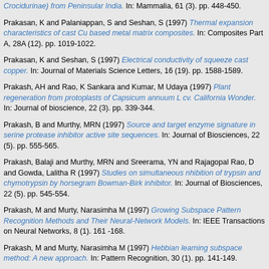Crocidurinae) from Peninsular India. In: Mammalia, 61 (3). pp. 448-450.
Prakasan, K and Palaniappan, S and Seshan, S (1997) Thermal expansion characteristics of cast Cu based metal matrix composites. In: Composites Part A, 28A (12). pp. 1019-1022.
Prakasan, K and Seshan, S (1997) Electrical conductivity of squeeze cast copper. In: Journal of Materials Science Letters, 16 (19). pp. 1588-1589.
Prakash, AH and Rao, K Sankara and Kumar, M Udaya (1997) Plant regeneration from protoplasts of Capsicum annuum L cv. California Wonder. In: Journal of bioscience, 22 (3). pp. 339-344.
Prakash, B and Murthy, MRN (1997) Source and target enzyme signature in serine protease inhibitor active site sequences. In: Journal of Biosciences, 22 (5). pp. 555-565.
Prakash, Balaji and Murthy, MRN and Sreerama, YN and Rajagopal Rao, D and Gowda, Lalitha R (1997) Studies on simultaneous nhibition of trypsin and chymotrypsin by horsegram Bowman-Birk inhibitor. In: Journal of Biosciences, 22 (5). pp. 545-554.
Prakash, M and Murty, Narasimha M (1997) Growing Subspace Pattern Recognition Methods and Their Neural-Network Models. In: IEEE Transactions on Neural Networks, 8 (1). 161 -168.
Prakash, M and Murty, Narasimha M (1997) Hebbian learning subspace method: A new approach. In: Pattern Recognition, 30 (1). pp. 141-149.
Prakash, S and Asokan, S and Ghare, DB (1997) A Guideline for Designing Chalcogenide-Based Glasses for Threshold Switching Characteristics. In: IEEE Electronics Device Letters, 18 (5). pp. 45-47.